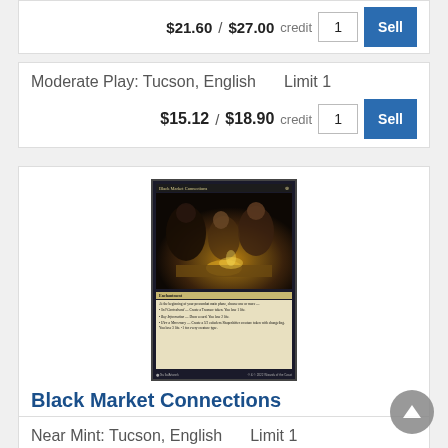$21.60 / $27.00 credit  1  Sell
Moderate Play: Tucson, English    Limit 1
$15.12 / $18.90 credit  1  Sell
[Figure (illustration): Magic: The Gathering card 'Black Market Connections' showing figures gathered around a table by candlelight, Enchantment card type]
Black Market Connections
Near Mint: Tucson, English    Limit 1
$20.80 / $26.00 credit  1  Sell